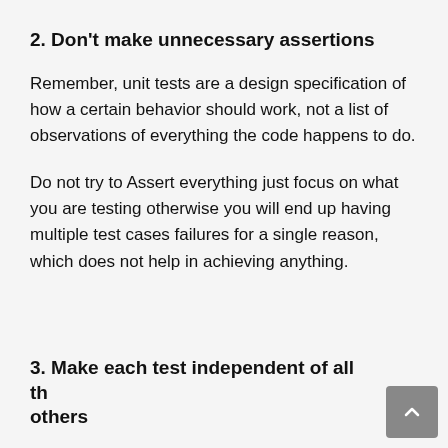2. Don't make unnecessary assertions
Remember, unit tests are a design specification of how a certain behavior should work, not a list of observations of everything the code happens to do.
Do not try to Assert everything just focus on what you are testing otherwise you will end up having multiple test cases failures for a single reason, which does not help in achieving anything.
3. Make each test independent of all the others